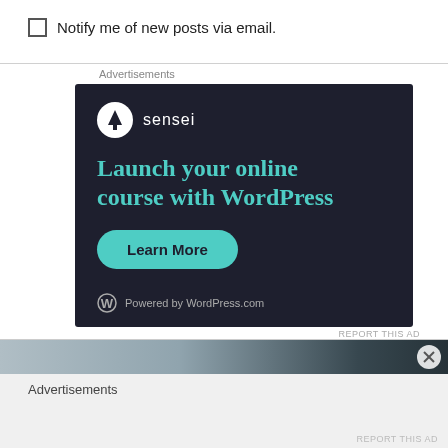Notify me of new posts via email.
Advertisements
[Figure (illustration): Sensei advertisement banner with dark background. Shows Sensei logo (tree icon in white circle) with text 'sensei', headline 'Launch your online course with WordPress' in teal, a 'Learn More' teal rounded button, and 'Powered by WordPress.com' footer with WordPress logo.]
REPORT THIS AD
Advertisements
REPORT THIS AD